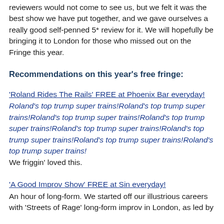reviewers would not come to see us, but we felt it was the best show we have put together, and we gave ourselves a really good self-penned 5* review for it. We will hopefully be bringing it to London for those who missed out on the Fringe this year.
Recommendations on this year's free fringe:
'Roland Rides The Rails'  FREE at Phoenix Bar everyday!
Roland's top trump super trains!Roland's top trump super trains!Roland's top trump super trains!Roland's top trump super trains!Roland's top trump super trains!Roland's top trump super trains!Roland's top trump super trains!Roland's top trump super trains!
We friggin' loved this.
'A Good Improv Show' FREE at Sin everyday!
An hour of long-form. We started off our illustrious careers with 'Streets of Rage' long-form improv in London, as led by